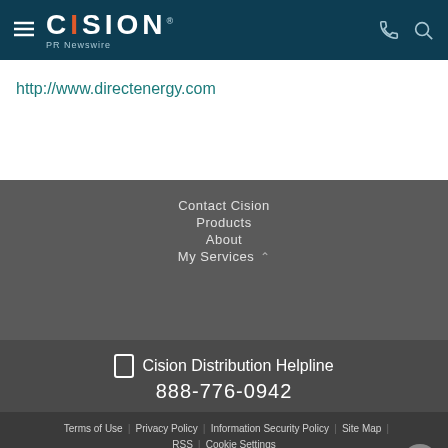CISION PR Newswire
http://www.directenergy.com
Contact Cision
Products
About
My Services
Cision Distribution Helpline 888-776-0942
Terms of Use | Privacy Policy | Information Security Policy | Site Map | RSS | Cookie Settings
Copyright © 2022 Cision US Inc.